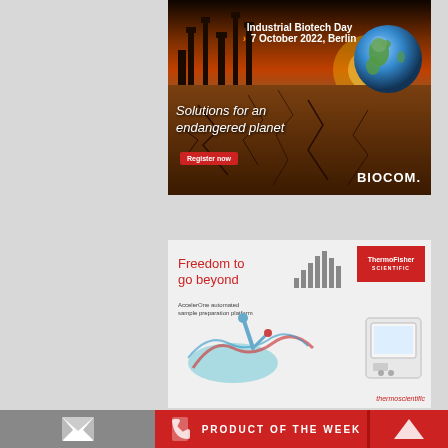[Figure (illustration): BIOCOM Industrial Biotech Day advertisement. Background shows industrial silhouettes against an orange sunset sky with a globe resting on cracked earth. Text reads 'Industrial Biotech Day', '7 October 2022, Berlin', 'Solutions for an endangered planet', 'Register now', and 'BIOCOM.' logo.]
[Figure (illustration): ThermoFisher Scientific advertisement. White/light gray background with a robotic arm illustration, protein structure, and laboratory instrument. Text reads 'Freedom to go beyond', 'AccelerOne automated sample preparation platform'. ThermoFisher Scientific red logo box in top right. 'thermoscientific' watermark bottom right.]
PRODUCT OF THE WEEK